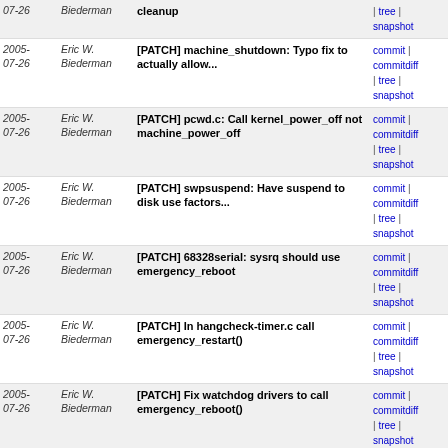| Date | Author | Commit message |  |
| --- | --- | --- | --- |
| 2005-07-26 | Eric W. Biederman | [PATCH] machine_shutdown: Typo fix to actually allow... | commit | commitdiff | tree | snapshot |
| 2005-07-26 | Eric W. Biederman | [PATCH] pcwd.c: Call kernel_power_off not machine_power_off | commit | commitdiff | tree | snapshot |
| 2005-07-26 | Eric W. Biederman | [PATCH] swpsuspend: Have suspend to disk use factors... | commit | commitdiff | tree | snapshot |
| 2005-07-26 | Eric W. Biederman | [PATCH] 68328serial: sysrq should use emergency_reboot | commit | commitdiff | tree | snapshot |
| 2005-07-26 | Eric W. Biederman | [PATCH] In hangcheck-timer.c call emergency_restart() | commit | commitdiff | tree | snapshot |
| 2005-07-26 | Eric W. Biederman | [PATCH] Fix watchdog drivers to call emergency_reboot() | commit | commitdiff | tree | snapshot |
| 2005-07-26 | Eric W. Biederman | [PATCH] Update sysrq-B to use emergency_restart() | commit | commitdiff | tree | snapshot |
| 2005-07-26 | Eric W. Biederman | [PATCH] Call emergency_reboot from panic | commit | commitdiff | tree | snapshot |
next
Unnamed repository; edit this file 'description' to name the repository.